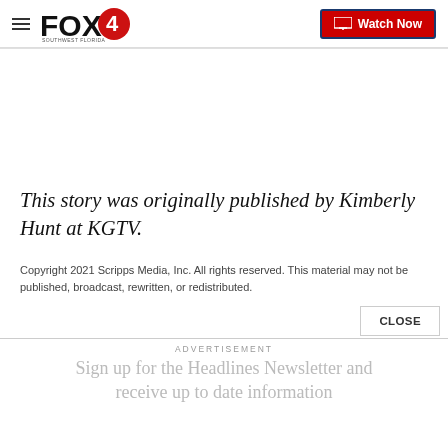FOX4 | Watch Now
This story was originally published by Kimberly Hunt at KGTV.
Copyright 2021 Scripps Media, Inc. All rights reserved. This material may not be published, broadcast, rewritten, or redistributed.
ADVERTISEMENT
Sign up for the Headlines Newsletter and receive up to date information